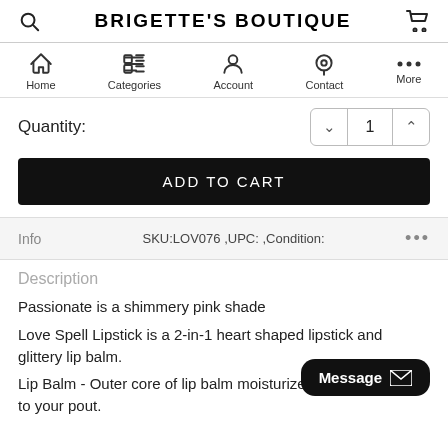BRIGETTE'S BOUTIQUE
Home  Categories  Account  Contact  More
Quantity: 1
ADD TO CART
Info   SKU:LOV076 ,UPC: ,Condition:
Description
Passionate is a shimmery pink shade
Love Spell Lipstick is a 2-in-1 heart shaped lipstick and glittery lip balm.
Lip Balm - Outer core of lip balm moisturizes and adds shine to your pout.
Message